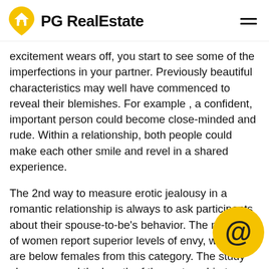PG RealEstate
excitement wears off, you start to see some of the imperfections in your partner. Previously beautiful characteristics may well have commenced to reveal their blemishes. For example , a confident, important person could become close-minded and rude. Within a relationship, both people could make each other smile and revel in a shared experience.
The 2nd way to measure erotic jealousy in a romantic relationship is always to ask participants about their spouse-to-be's behavior. The majority of women report superior levels of envy, while men are below females from this category. The study also assessed the length of the partnership to evaluate its influence on sexual envy and co... These effects suggest that an extended roman... relationship may increase levels of both support...